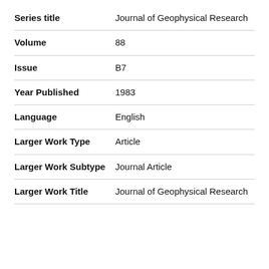| Field | Value |
| --- | --- |
| Series title | Journal of Geophysical Research |
| Volume | 88 |
| Issue | B7 |
| Year Published | 1983 |
| Language | English |
| Larger Work Type | Article |
| Larger Work Subtype | Journal Article |
| Larger Work Title | Journal of Geophysical Research |